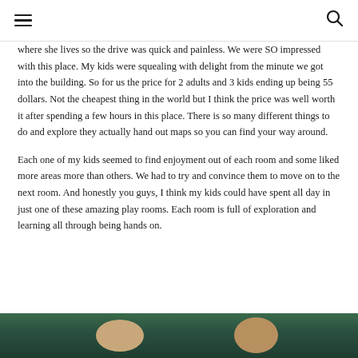≡  🔍
where she lives so the drive was quick and painless. We were SO impressed with this place. My kids were squealing with delight from the minute we got into the building. So for us the price for 2 adults and 3 kids ending up being 55 dollars. Not the cheapest thing in the world but I think the price was well worth it after spending a few hours in this place. There is so many different things to do and explore they actually hand out maps so you can find your way around.
Each one of my kids seemed to find enjoyment out of each room and some liked more areas more than others. We had to try and convince them to move on to the next room. And honestly you guys, I think my kids could have spent all day in just one of these amazing play rooms. Each room is full of exploration and learning all through being hands on.
[Figure (photo): Partial photo strip at the bottom of the page showing children or people in a room, cropped and partially visible]